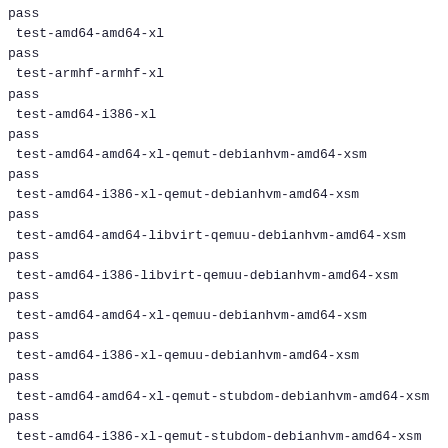pass
 test-amd64-amd64-xl
pass
 test-armhf-armhf-xl
pass
 test-amd64-i386-xl
pass
 test-amd64-amd64-xl-qemut-debianhvm-amd64-xsm
pass
 test-amd64-i386-xl-qemut-debianhvm-amd64-xsm
pass
 test-amd64-amd64-libvirt-qemuu-debianhvm-amd64-xsm
pass
 test-amd64-i386-libvirt-qemuu-debianhvm-amd64-xsm
pass
 test-amd64-amd64-xl-qemuu-debianhvm-amd64-xsm
pass
 test-amd64-i386-xl-qemuu-debianhvm-amd64-xsm
pass
 test-amd64-amd64-xl-qemut-stubdom-debianhvm-amd64-xsm
pass
 test-amd64-i386-xl-qemut-stubdom-debianhvm-amd64-xsm
pass
 test-amd64-amd64-libvirt-xsm
pass
 test-armhf-armhf-libvirt-xsm
fail
 test-amd64-i386-libvirt-xsm
pass
 test-amd64-amd64-xl-xsm
pass